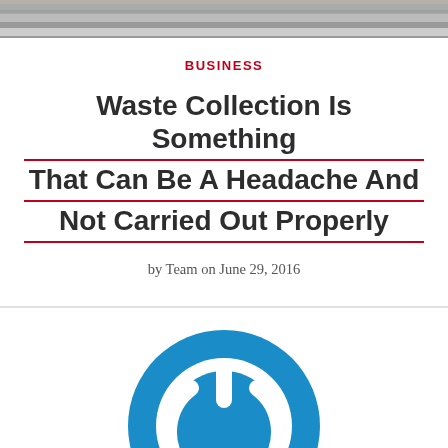[Figure (photo): Partial photograph visible at top of page, appears to show an outdoor scene]
BUSINESS
Waste Collection Is Something That Can Be A Headache And Not Carried Out Properly
by Team on June 29, 2016
[Figure (logo): Blue circular power button logo icon]